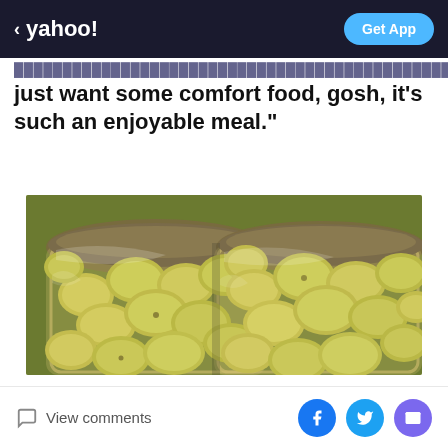< yahoo! | Get App
just want some comfort food, gosh, it's such an enjoyable meal."
[Figure (photo): Two large glass jars filled with green olives packed tightly together, close-up photograph]
View comments | Facebook share | Twitter share | Email share